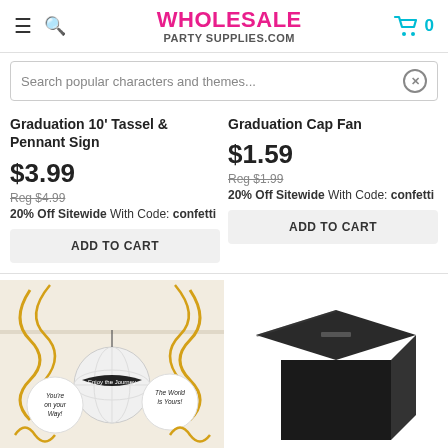WHOLESALE PARTY SUPPLIES.COM
Search popular characters and themes...
Graduation 10' Tassel & Pennant Sign
$3.99
Reg $4.99
20% Off Sitewide With Code: confetti
ADD TO CART
Graduation Cap Fan
$1.59
Reg $1.99
20% Off Sitewide With Code: confetti
ADD TO CART
[Figure (photo): Graduation swirl decorations with circular discs saying 'You're on your way!', 'Enjoy the Journey', 'The World is Yours!' in gold and white]
[Figure (photo): Black graduation cap box/card holder with slot on top]